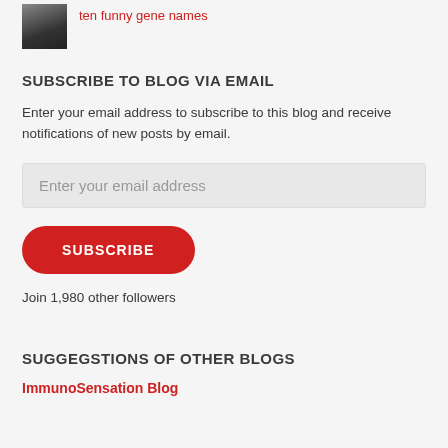[Figure (photo): Small thumbnail image of a dark silhouetted figure, likely a person in dark clothing, against a grayish background]
ten funny gene names
SUBSCRIBE TO BLOG VIA EMAIL
Enter your email address to subscribe to this blog and receive notifications of new posts by email.
Enter your email address
SUBSCRIBE
Join 1,980 other followers
SUGGEGSTIONS OF OTHER BLOGS
ImmunoSensation Blog